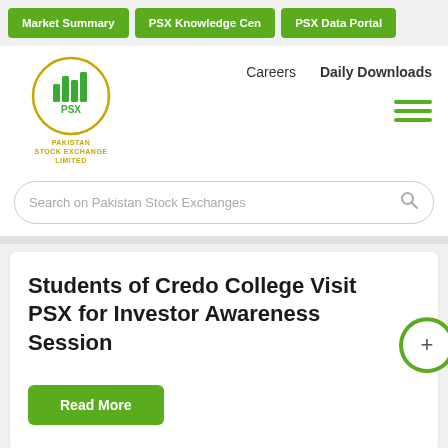Market Summary | PSX Knowledge Centre | PSX Data Portal
[Figure (logo): PSX Pakistan Stock Exchange Limited logo with green bars and golden circle]
Careers    Daily Downloads
Search on Pakistan Stock Exchanges
Students of Credo College Visit PSX for Investor Awareness Session
Read More